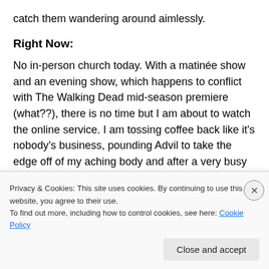catch them wandering around aimlessly.
Right Now:
No in-person church today. With a matinée show and an evening show, which happens to conflict with The Walking Dead mid-season premiere (what??), there is no time but I am about to watch the online service. I am tossing coffee back like it's nobody's business, pounding Advil to take the edge off of my aching body and after a very busy day and night the show will wrap and we will be on to the next one
Privacy & Cookies: This site uses cookies. By continuing to use this website, you agree to their use.
To find out more, including how to control cookies, see here: Cookie Policy
Close and accept